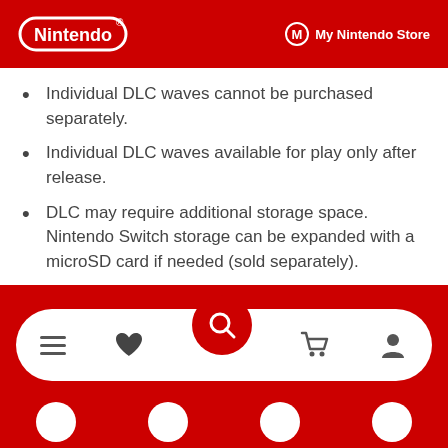Nintendo | My Nintendo Store
Individual DLC waves cannot be purchased separately.
Individual DLC waves available for play only after release.
DLC may require additional storage space. Nintendo Switch storage can be expanded with a microSD card if needed (sold separately).
© Nintendo / MONOLITHSOFT
Navigation bar with menu, heart, search, cart, and profile icons